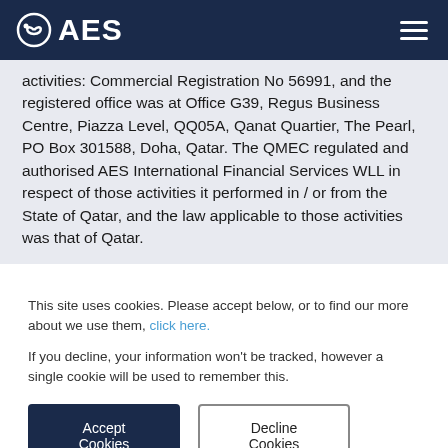AES
activities: Commercial Registration No 56991, and the registered office was at Office G39, Regus Business Centre, Piazza Level, QQ05A, Qanat Quartier, The Pearl, PO Box 301588, Doha, Qatar. The QMEC regulated and authorised AES International Financial Services WLL in respect of those activities it performed in / or from the State of Qatar, and the law applicable to those activities was that of Qatar.
This site uses cookies. Please accept below, or to find our more about we use them, click here.
If you decline, your information won't be tracked, however a single cookie will be used to remember this.